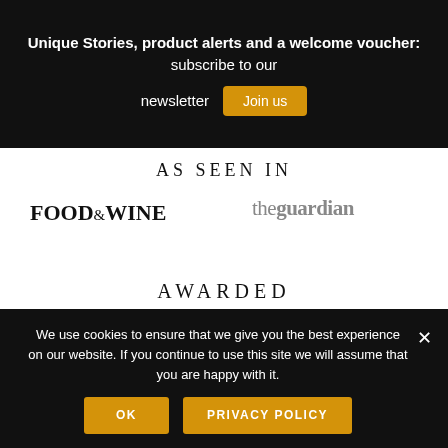Unique Stories, product alerts and a welcome voucher: subscribe to our newsletter [Join us]
AS SEEN IN
[Figure (logo): FOOD&WINE logo in bold black serif font]
[Figure (logo): theguardian logo in grey serif font]
AWARDED
[Figure (illustration): Laurel wreath badge with text 'International Cognac Writer']
We use cookies to ensure that we give you the best experience on our website. If you continue to use this site we will assume that you are happy with it.
OK  PRIVACY POLICY